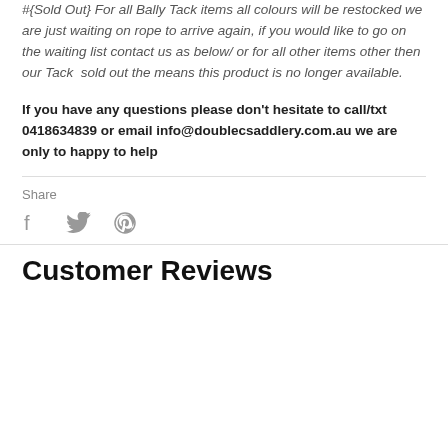#{Sold Out} For all Bally Tack items all colours will be restocked we are just waiting on rope to arrive again, if you would like to go on the waiting list contact us as below/ or for all other items other then our Tack  sold out the means this product is no longer available.
If you have any questions please don't hesitate to call/txt 0418634839 or email info@doublecsaddlery.com.au we are only to happy to help
Share
[Figure (illustration): Social sharing icons: Facebook, Twitter, Pinterest]
Customer Reviews